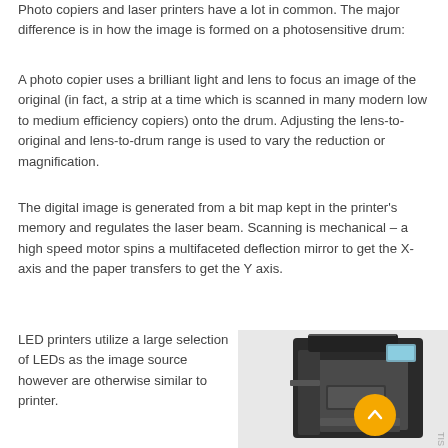Photo copiers and laser printers have a lot in common. The major difference is in how the image is formed on a photosensitive drum:
A photo copier uses a brilliant light and lens to focus an image of the original (in fact, a strip at a time which is scanned in many modern low to medium efficiency copiers) onto the drum. Adjusting the lens-to-original and lens-to-drum range is used to vary the reduction or magnification.
The digital image is generated from a bit map kept in the printer's memory and regulates the laser beam. Scanning is mechanical – a high speed motor spins a multifaceted deflection mirror to get the X-axis and the paper transfers to get the Y axis.
LED printers utilize a large selection of LEDs as the image source however are otherwise similar to printer.
[Figure (photo): A large black and grey laser printer/copier machine, shown in the bottom right of the page. A gold/yellow circular button with an upward arrow chevron overlays the image.]